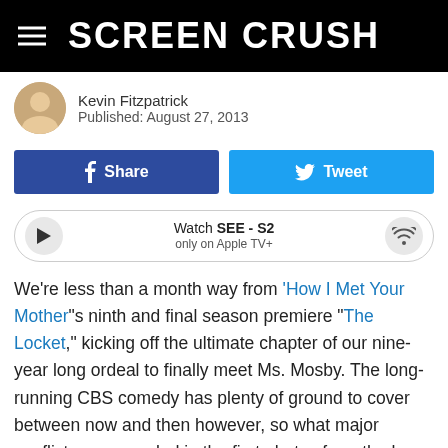Screen Crush
Kevin Fitzpatrick
Published: August 27, 2013
[Figure (infographic): Facebook Share button and Twitter Tweet button side by side]
[Figure (infographic): Watch SEE - S2 only on Apple TV+ media player bar with play and wifi icons]
We're less than a month way from 'How I Met Your Mother''s ninth and final season premiere "The Locket," kicking off the ultimate chapter of our nine-year long ordeal to finally meet Ms. Mosby. The long-running CBS comedy has plenty of ground to cover between now and then however, so what major conflicts are revealed in the first photos from the hour-long September 23 premiere?